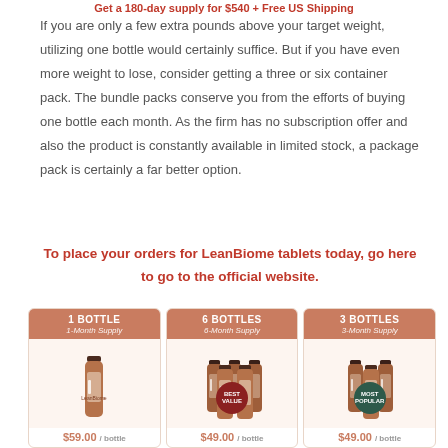Get a 180-day supply for $540 + Free US Shipping
If you are only a few extra pounds above your target weight, utilizing one bottle would certainly suffice. But if you have even more weight to lose, consider getting a three or six container pack. The bundle packs conserve you from the efforts of buying one bottle each month. As the firm has no subscription offer and also the product is constantly available in limited stock, a package pack is certainly a far better option.
To place your orders for LeanBiome tablets today, go here to go to the official website.
[Figure (infographic): Three product cards showing LeanBiome supplement bottles: 1 Bottle (1-Month Supply), 6 Bottles (6-Month Supply) with Best Value badge, and 3 Bottles (3-Month Supply) with Most Popular badge. Each card has a salmon/terracotta colored header and shows product bottle images on a light background. Prices shown at bottom in orange text.]